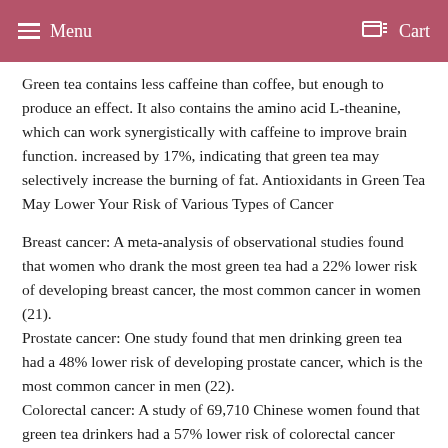Menu   Cart
Green tea contains less caffeine than coffee, but enough to produce an effect. It also contains the amino acid L-theanine, which can work synergistically with caffeine to improve brain function. increased by 17%, indicating that green tea may selectively increase the burning of fat. Antioxidants in Green Tea May Lower Your Risk of Various Types of Cancer
Breast cancer: A meta-analysis of observational studies found that women who drank the most green tea had a 22% lower risk of developing breast cancer, the most common cancer in women (21).
Prostate cancer: One study found that men drinking green tea had a 48% lower risk of developing prostate cancer, which is the most common cancer in men (22).
Colorectal cancer: A study of 69,710 Chinese women found that green tea drinkers had a 57% lower risk of colorectal cancer